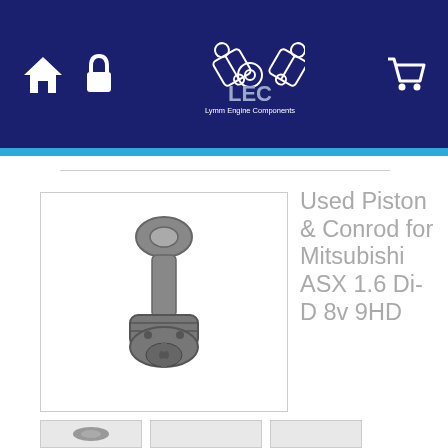[Figure (logo): LEC Lymm Engine Components logo with piston/conrod icon on dark navy header background, with home icon, lock icon on left, and shopping cart icon on right]
[Figure (photo): Used piston and conrod assembly for Mitsubishi ASX 1.6 Di-D 8v 9HD engine, metallic grey color, photographed on white background]
Used Piston & Conrod for Mitsubishi ASX 1.6 Di-D 8v 9HD